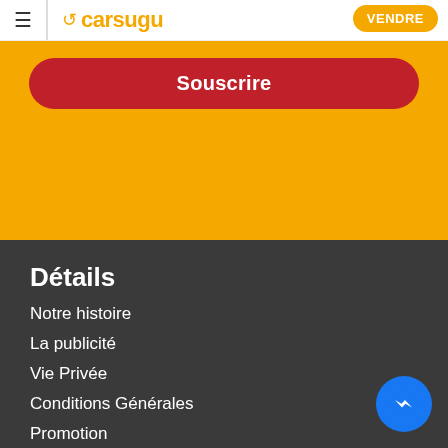carsugu — VENDRE
Souscrire
Détails
Notre histoire
La publicité
Vie Privée
Conditions Générales
Promotion
Contact
Chercher
Voitures
Motos